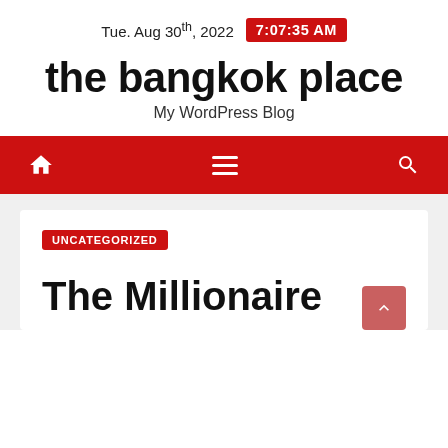Tue. Aug 30th, 2022  7:07:35 AM
the bangkok place
My WordPress Blog
[Figure (other): Red navigation bar with home icon, hamburger menu, and search icon]
UNCATEGORIZED
The Millionaire